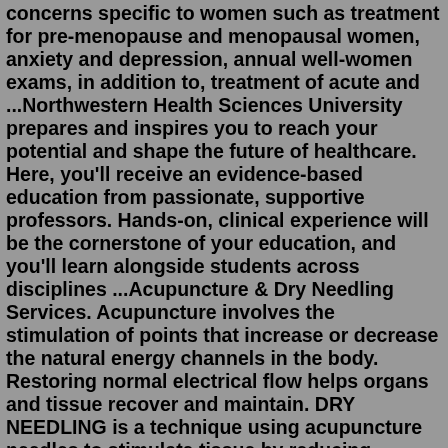concerns specific to women such as treatment for pre-menopause and menopausal women, anxiety and depression, annual well-women exams, in addition to, treatment of acute and ...Northwestern Health Sciences University prepares and inspires you to reach your potential and shape the future of healthcare. Here, you'll receive an evidence-based education from passionate, supportive professors. Hands-on, clinical experience will be the cornerstone of your education, and you'll learn alongside students across disciplines ...Acupuncture & Dry Needling Services. Acupuncture involves the stimulation of points that increase or decrease the natural energy channels in the body. Restoring normal electrical flow helps organs and tissue recover and maintain. DRY NEEDLING is a technique using acupuncture needles to stimulate tissue by reducing spasm, releasing scarring and ...Request an Appointment. 410-955-5000 Maryland. 855-695-4872 Outside of Maryland. +1-410-502-7683 International. Find a Doctor. Find a Doctor. Find a Treatment Center."National University